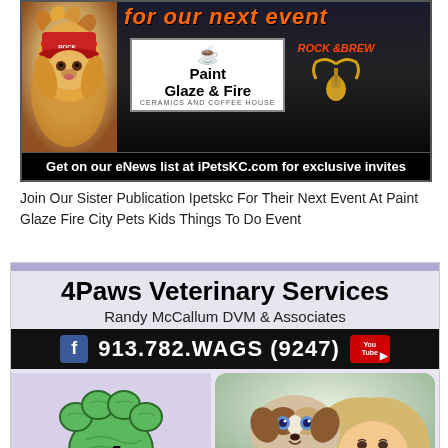[Figure (photo): Advertisement for iPetsKC event at Paint Glaze & Fire ceramics and coffee house, featuring a dog photo, the Paint Glaze & Fire logo, Rock & Brew logo, and text 'Get on our eNews list at iPetsKC.com for exclusive invites']
Join Our Sister Publication Ipetskc For Their Next Event At Paint Glaze Fire City Pets Kids Things To Do Event
[Figure (photo): Advertisement for 4Paws Veterinary Services, Randy McCallum DVM & Associates, phone 913.782.WAGS (9247), with paw print logo and puppy photo]